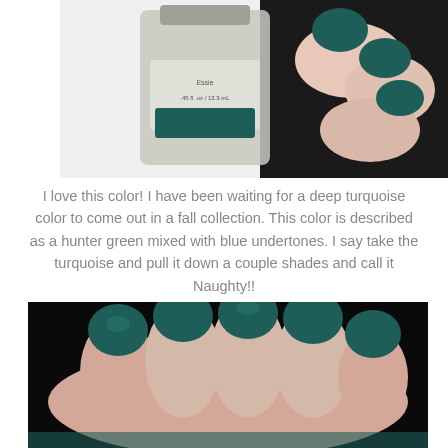[Figure (photo): Hand holding a small bottle of Essie nail polish (.45 fl. oz / 13.3 mL) with teal/dark turquoise nails visible]
I love this color! I have been waiting for a deep turquoise color to come out in a fall collection. This color is described as a hunter green mixed with blue undertones. I say take the turquoise and pull it down a couple shades and call it Naughty!!
[Figure (photo): Close-up of a hand with nails painted in deep teal/dark turquoise nail polish against a black background]